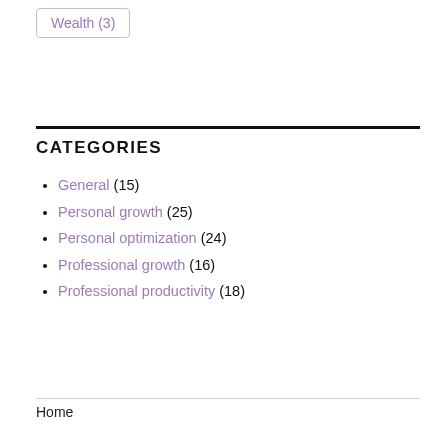Wealth (3)
CATEGORIES
General (15)
Personal growth (25)
Personal optimization (24)
Professional growth (16)
Professional productivity (18)
Home